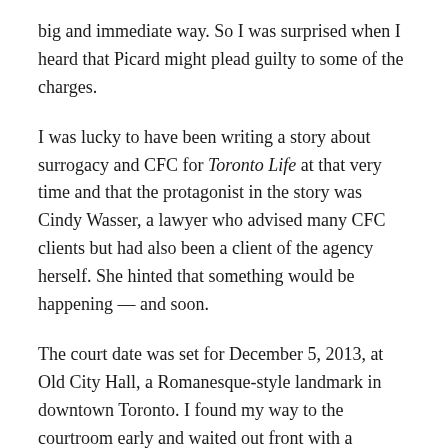big and immediate way. So I was surprised when I heard that Picard might plead guilty to some of the charges.
I was lucky to have been writing a story about surrogacy and CFC for Toronto Life at that very time and that the protagonist in the story was Cindy Wasser, a lawyer who advised many CFC clients but had also been a client of the agency herself. She hinted that something would be happening — and soon.
The court date was set for December 5, 2013, at Old City Hall, a Romanesque-style landmark in downtown Toronto. I found my way to the courtroom early and waited out front with a friendly RCMP officer involved in the case.
Stories having to do with the law always mess me up. I